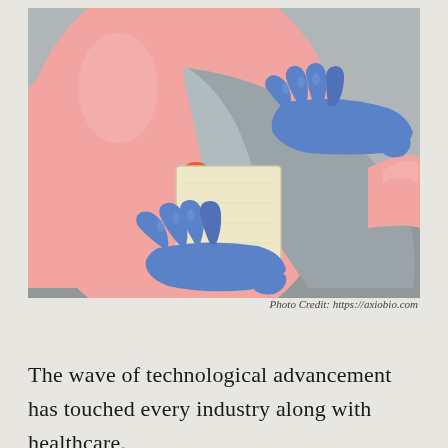[Figure (illustration): Medical illustration showing a gloved hand (blue latex gloves) applying or removing a square bandage/patch from a wound (red/inflamed area) on a patient's skin. The scene is drawn in a flat illustration style with pink skin tones and gray background elements.]
Photo Credit: https://axiobio.com
The wave of technological advancement has touched every industry along with healthcare.